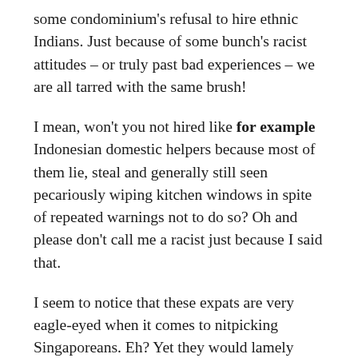some condominium's refusal to hire ethnic Indians. Just because of some bunch's racist attitudes – or truly past bad experiences – we are all tarred with the same brush!
I mean, won't you not hired like for example Indonesian domestic helpers because most of them lie, steal and generally still seen pecariously wiping kitchen windows in spite of repeated warnings not to do so? Oh and please don't call me a racist just because I said that.
I seem to notice that these expats are very eagle-eyed when it comes to nitpicking Singaporeans. Eh? Yet they would lamely defend themselves that they don't possess similar mindsets as their racist counterparts